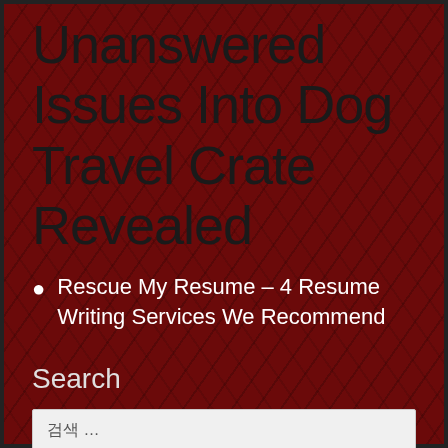Unanswered Issues Into Dog Travel Crate Revealed
Rescue My Resume – 4 Resume Writing Services We Recommend
Search